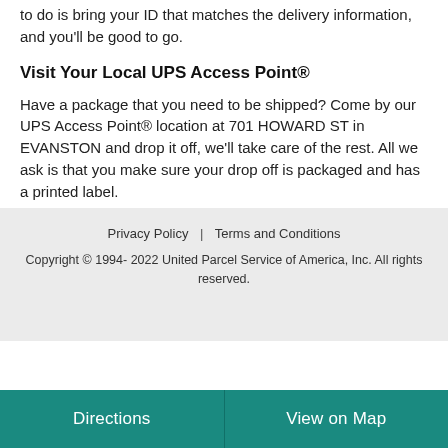to do is bring your ID that matches the delivery information, and you'll be good to go.
Visit Your Local UPS Access Point®
Have a package that you need to be shipped? Come by our UPS Access Point® location at 701 HOWARD ST in EVANSTON and drop it off, we'll take care of the rest. All we ask is that you make sure your drop off is packaged and has a printed label.
Privacy Policy | Terms and Conditions
Copyright © 1994- 2022 United Parcel Service of America, Inc. All rights reserved.
Directions
View on Map